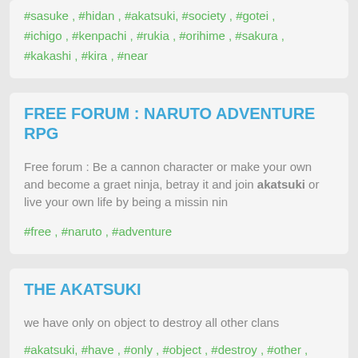#sasuke , #hidan , #akatsuki, #society , #gotei , #ichigo , #kenpachi , #rukia , #orihime , #sakura , #kakashi , #kira , #near
FREE FORUM : NARUTO ADVENTURE RPG
Free forum : Be a cannon character or make your own and become a graet ninja, betray it and join akatsuki or live your own life by being a missin nin
#free , #naruto , #adventure
THE AKATSUKI
we have only on object to destroy all other clans
#akatsuki, #have , #only , #object , #destroy , #other , #clans